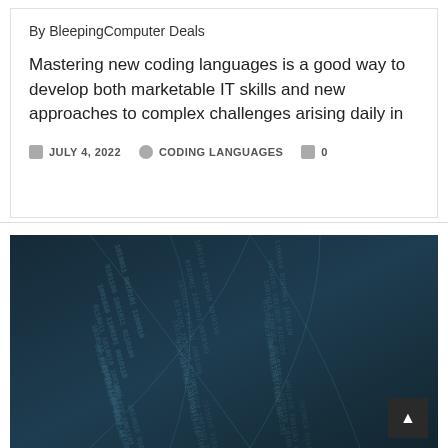By BleepingComputer Deals
Mastering new coding languages is a good way to develop both marketable IT skills and new approaches to complex challenges arising daily in
JULY 4, 2022   CODING LANGUAGES   0
[Figure (illustration): Dark teal/navy background with glowing binary code strings arranged in curved ribbon-like patterns forming diamond/lens shapes, suggesting data and coding themes.]